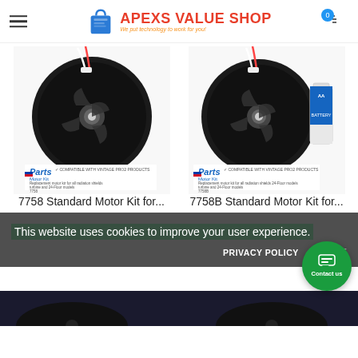APEXS VALUE SHOP — We put technology to work for you!
[Figure (photo): Product photo of 7758 Standard Motor Kit — a drone/RC fan motor unit with red wires and Parts Motor Kit label]
7758 Standard Motor Kit for...
[Figure (photo): Product photo of 7758B Standard Motor Kit — a drone/RC fan motor unit with batteries and Parts Motor Kit label]
7758B Standard Motor Kit for...
This website uses cookies to improve your user experience.
PRIVACY POLICY   ACCEPT